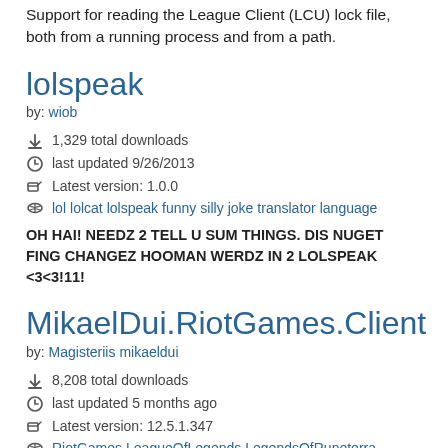Support for reading the League Client (LCU) lock file, both from a running process and from a path.
lolspeak
by: wiob
1,329 total downloads
last updated 9/26/2013
Latest version: 1.0.0
lol lolcat lolspeak funny silly joke translator language
OH HAI! NEEDZ 2 TELL U SUM THINGS. DIS NUGET FING CHANGEZ HOOMAN WERDZ IN 2 LOLSPEAK <3<3!11!
MikaelDui.RiotGames.Client
by: Magisteriis mikaeldui
8,208 total downloads
last updated 5 months ago
Latest version: 12.5.1.347
RiotGames LeagueOfLegends LegendsOfRuneterra